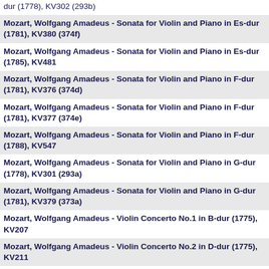dur (1778), KV302 (293b)
Mozart, Wolfgang Amadeus - Sonata for Violin and Piano in Es-dur (1781), KV380 (374f)
Mozart, Wolfgang Amadeus - Sonata for Violin and Piano in Es-dur (1785), KV481
Mozart, Wolfgang Amadeus - Sonata for Violin and Piano in F-dur (1781), KV376 (374d)
Mozart, Wolfgang Amadeus - Sonata for Violin and Piano in F-dur (1781), KV377 (374e)
Mozart, Wolfgang Amadeus - Sonata for Violin and Piano in F-dur (1788), KV547
Mozart, Wolfgang Amadeus - Sonata for Violin and Piano in G-dur (1778), KV301 (293a)
Mozart, Wolfgang Amadeus - Sonata for Violin and Piano in G-dur (1781), KV379 (373a)
Mozart, Wolfgang Amadeus - Violin Concerto No.1 in B-dur (1775), KV207
Mozart, Wolfgang Amadeus - Violin Concerto No.2 in D-dur (1775), KV211
Mozart, Wolfgang Amadeus - Violin Concerto No.3 in G-dur (1775), KV216
Mozart, Wolfgang Amadeus - Violin Concerto No.4 in D-dur (1775), KV218
Mozart, Wolfgang Amadeus - Violin Concerto No.5 in A-dur (1775), KV219